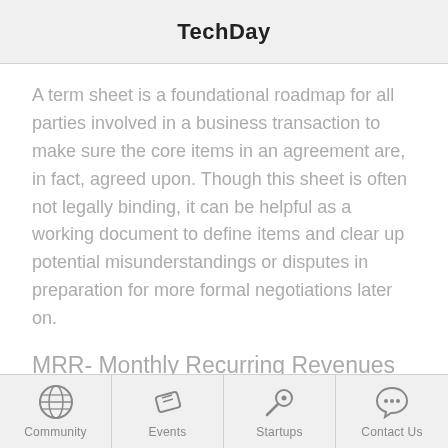TechDay
A term sheet is a foundational roadmap for all parties involved in a business transaction to make sure the core items in an agreement are, in fact, agreed upon. Though this sheet is often not legally binding, it can be helpful as a working document to define items and clear up potential misunderstandings or disputes in preparation for more formal negotiations later on.
MRR- Monthly Recurring Revenues
If your startup's solution is SaaS or
Community | Events | Startups | Contact Us